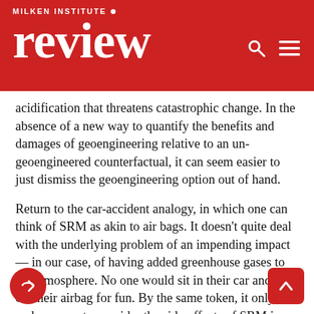MILKEN INSTITUTE review
acidification that threatens catastrophic change. In the absence of a new way to quantify the benefits and damages of geoengineering relative to an un-geoengineered counterfactual, it can seem easier to just dismiss the geoengineering option out of hand.
Return to the car-accident analogy, in which one can think of SRM as akin to air bags. It doesn’t quite deal with the underlying problem of an impending impact — in our case, of having added greenhouse gases to the atmosphere. No one would sit in their car and set off their airbag for fun. By the same token, it only makes sense to consider the side-effects of SRM in the context of climate change. But it is possible that geoengineering could reduce some of the worst effects of climate change and thus mitigate suffering, particularly for the most